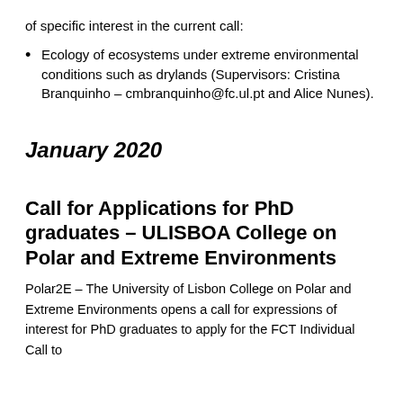of specific interest in the current call:
Ecology of ecosystems under extreme environmental conditions such as drylands (Supervisors: Cristina Branquinho – cmbranquinho@fc.ul.pt and Alice Nunes).
January 2020
Call for Applications for PhD graduates – ULISBOA College on Polar and Extreme Environments
Polar2E – The University of Lisbon College on Polar and Extreme Environments opens a call for expressions of interest for PhD graduates to apply for the FCT Individual Call to